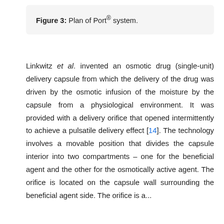Figure 3: Plan of Port® system.
Linkwitz et al. invented an osmotic drug (single-unit) delivery capsule from which the delivery of the drug was driven by the osmotic infusion of the moisture by the capsule from a physiological environment. It was provided with a delivery orifice that opened intermittently to achieve a pulsatile delivery effect [14]. The technology involves a movable position that divides the capsule interior into two compartments – one for the beneficial agent and the other for the osmotically active agent. The orifice is located on the capsule wall surrounding the beneficial agent side. The orifice is...